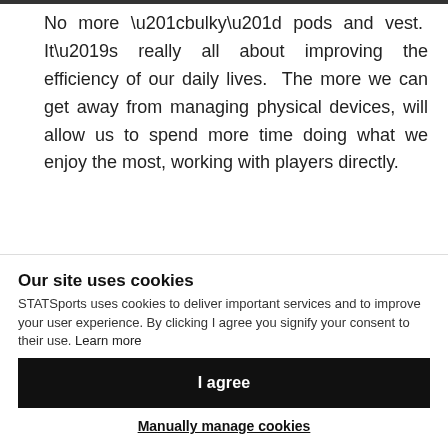No more “bulky” pods and vest. It’s really all about improving the efficiency of our daily lives. The more we can get away from managing physical devices, will allow us to spend more time doing what we enjoy the most, working with players directly.
SS: Daniel, you’ve worked for US Soccer in a previous role. How important do you feel the
Our site uses cookies
STATSports uses cookies to deliver important services and to improve your user experience. By clicking I agree you signify your consent to their use. Learn more
I agree
Manually manage cookies